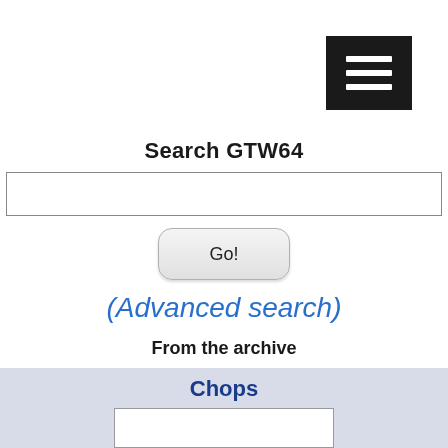[Figure (screenshot): Hamburger menu icon button (three horizontal white lines on black background), top-right corner]
Search GTW64
[Figure (screenshot): Search input text field, empty, with border]
[Figure (screenshot): Go! button, rounded rectangle with gradient]
(Advanced search)
From the archive
Chops